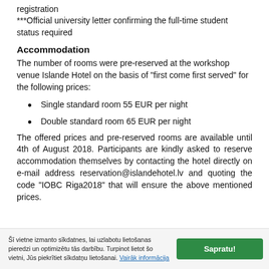registration
***Official university letter confirming the full-time student status required
Accommodation
The number of rooms were pre-reserved at the workshop venue Islande Hotel on the basis of “first come first served” for the following prices:
Single standard room 55 EUR per night
Double standard room 65 EUR per night
The offered prices and pre-reserved rooms are available until 4th of August 2018. Participants are kindly asked to reserve accommodation themselves by contacting the hotel directly on e-mail address reservation@islandehotel.lv and quoting the code “IOBC Riga2018” that will ensure the above mentioned prices.
Šī vietne izmanto sīkdatnes, lai uzlabotu lietošanas pieredzi un optimizētu tās darbību. Turpinot lietot šo vietni, Jūs piekrītiet sīkdaṇu lietošanai. Vairāk informācija